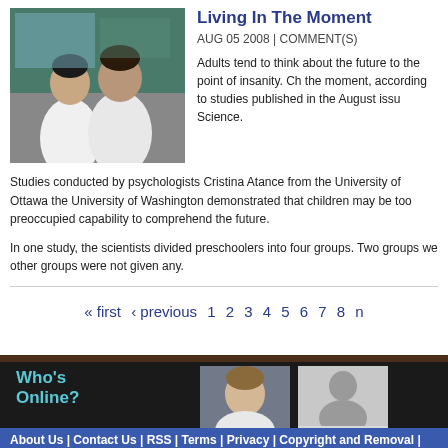Living In The Moment
AUG 05 2008 | COMMENT(S)
[Figure (photo): Two people in white lab coats, viewed from behind, in a laboratory or classroom setting with blue/green background]
Adults tend to think about the future to the point of insanity. Ch the moment, according to studies published in the August issu Science.
Studies conducted by psychologists Cristina Atance from the University of Ottawa the University of Washington demonstrated that children may be too preoccupied capability to comprehend the future.
In one study, the scientists divided preschoolers into four groups. Two groups we other groups were not given any.
« first  ‹ previous  1  2  3  4  5  6  7  8  n
Who's Online?
[Figure (photo): Young man in white shirt, photo of a website user]
[Figure (photo): Generic grey silhouette of a person representing a guest user, with label '253 guests']
About Us | Contact Us | RSS | Terms | Privacy | Copyright and Removal | Advertis